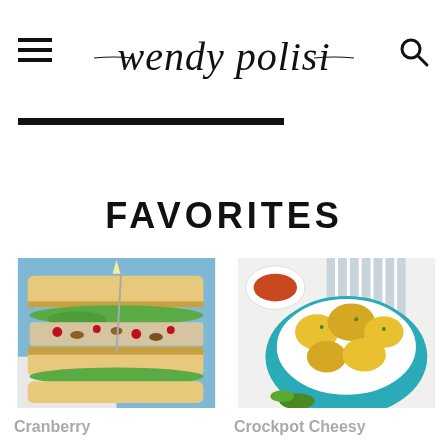wendy polisi — navigation header with hamburger menu and search icon
FAVORITES
[Figure (photo): A cranberry chicken salad sandwich stacked on whole wheat bread with lettuce, cranberries, and nuts, on a blue background]
[Figure (photo): Crockpot cheesy cauliflower in a teal ceramic bowl, with a striped cloth and small bowl of red pepper flakes nearby, on a white marble surface]
Cranberry
Crockpot Cheesy